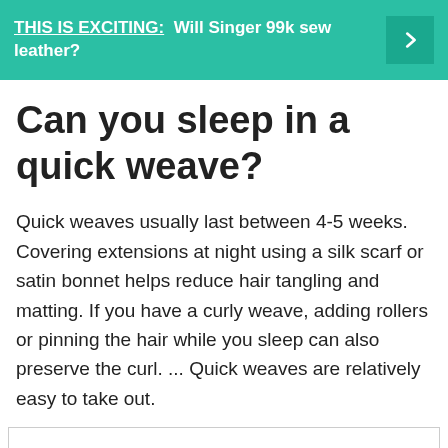THIS IS EXCITING: Will Singer 99k sew leather?
Can you sleep in a quick weave?
Quick weaves usually last between 4-5 weeks. Covering extensions at night using a silk scarf or satin bonnet helps reduce hair tangling and matting. If you have a curly weave, adding rollers or pinning the hair while you sleep can also preserve the curl. ... Quick weaves are relatively easy to take out.